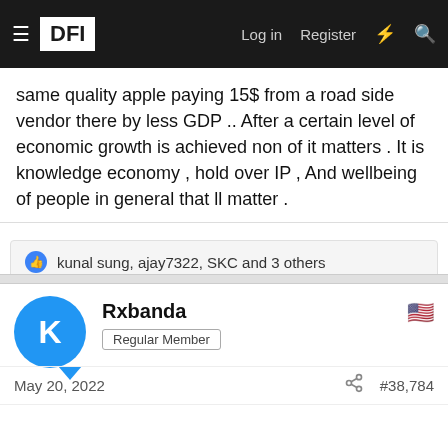DFI — Log in  Register
same quality apple paying 15$ from a road side vendor there by less GDP .. After a certain level of economic growth is achieved non of it matters . It is knowledge economy , hold over IP , And wellbeing of people in general that ll matter .
👍 kunal sung, ajay7322, SKC and 3 others
Rxbanda — Regular Member
May 20, 2022  #38,784
Super Flanker said: ↑

Yes you are right and this is because Standards of living in western countries like US, UK are more expensive as compared to the average indian because these guys tend to have prefer more comfortable living standards and therefore they have earn more.